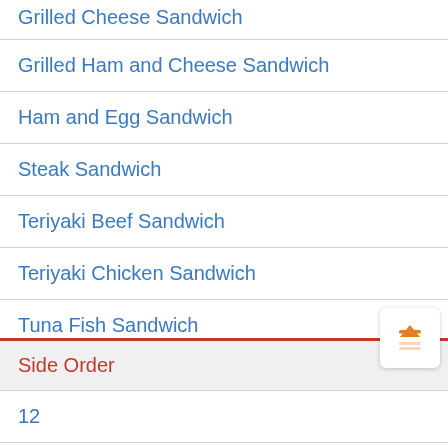Grilled Cheese Sandwich
Grilled Ham and Cheese Sandwich
Ham and Egg Sandwich
Steak Sandwich
Teriyaki Beef Sandwich
Teriyaki Chicken Sandwich
Tuna Fish Sandwich
Tuna Sandwich
Side Order
12
8 Pcs